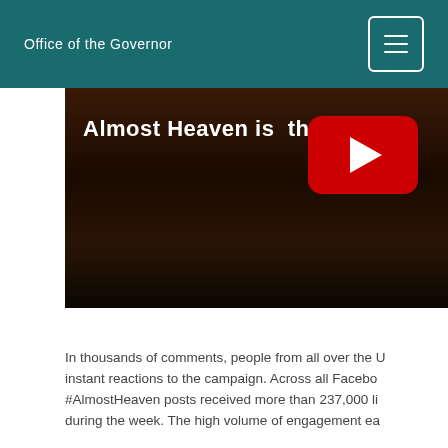Office of the Governor
[Figure (screenshot): YouTube video thumbnail showing 'Almost Heaven is the place' text on a dark forest/night background with a red YouTube play button overlay]
In thousands of comments, people from all over the U instant reactions to the campaign. Across all Facebo #AlmostHeaven posts received more than 237,000 li during the week. The high volume of engagement ea